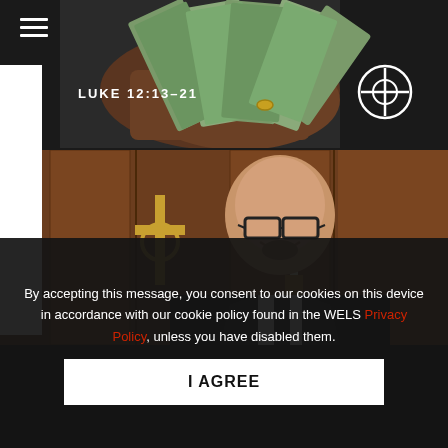[Figure (photo): Hamburger menu icon (three white horizontal lines) in top-left corner over dark background photo of hands holding fanned-out US dollar bills. White text 'LUKE 12:13–21' overlaid. Cross/globe logo in top-right corner.]
[Figure (photo): Photo of a smiling bald man wearing glasses and a black suit with tie, standing in front of a wooden church setting with a golden cross visible on the left.]
By accepting this message, you consent to our cookies on this device in accordance with our cookie policy found in the WELS Privacy Policy, unless you have disabled them.
I AGREE